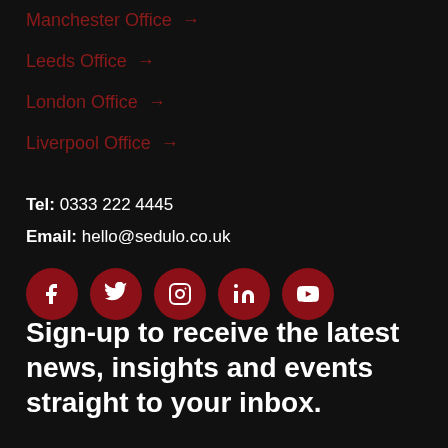Manchester Office →
Leeds Office →
London Office →
Liverpool Office →
Tel: 0333 222 4445
Email: hello@sedulo.co.uk
[Figure (infographic): Row of five dark red circular social media icons: Facebook, Twitter, Instagram, LinkedIn, YouTube]
Sign-up to receive the latest news, insights and events straight to your inbox.